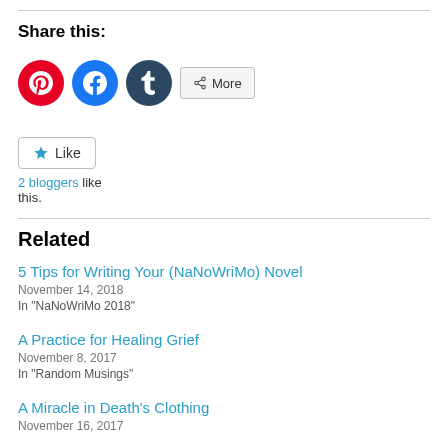Share this:
[Figure (infographic): Social sharing icons: Pinterest (red circle), Facebook (blue circle), Tumblr (dark circle), and a More button with share icon]
[Figure (infographic): Like button with blue star icon and text '2 bloggers like this.']
Related
5 Tips for Writing Your (NaNoWriMo) Novel
November 14, 2018
In "NaNoWriMo 2018"
A Practice for Healing Grief
November 8, 2017
In "Random Musings"
A Miracle in Death's Clothing
November 16, 2017